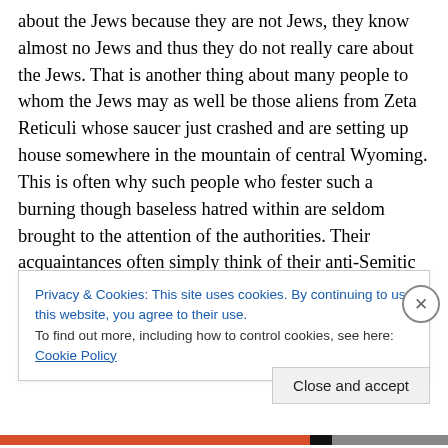about the Jews because they are not Jews, they know almost no Jews and thus they do not really care about the Jews. That is another thing about many people to whom the Jews may as well be those aliens from Zeta Reticuli whose saucer just crashed and are setting up house somewhere in the mountain of central Wyoming. This is often why such people who fester such a burning though baseless hatred within are seldom brought to the attention of the authorities. Their acquaintances often simply think of their anti-Semitic ramblings are nothing more than their means of expressing their frustrations and doubt that they
Privacy & Cookies: This site uses cookies. By continuing to use this website, you agree to their use.
To find out more, including how to control cookies, see here: Cookie Policy
Close and accept